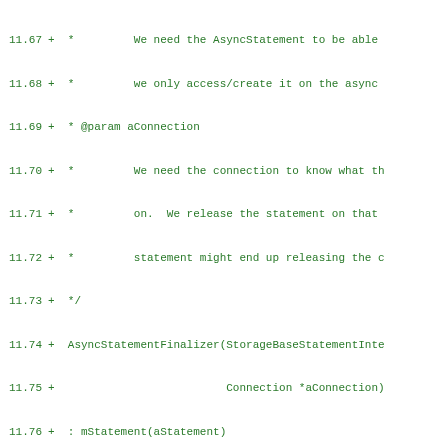[Figure (screenshot): Code diff view showing green added lines with line numbers 11.67 through 11.98, displaying C++ code for AsyncStatementFinalizer class with methods including constructor, Run(), and private members.]